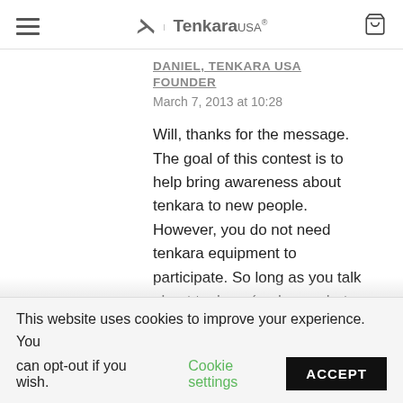Tenkara USA®
DANIEL, TENKARA USA FOUNDER
March 7, 2013 at 10:28
Will, thanks for the message. The goal of this contest is to help bring awareness about tenkara to new people. However, you do not need tenkara equipment to participate. So long as you talk about tenkara (perhaps what
This website uses cookies to improve your experience. You can opt-out if you wish.  Cookie settings  ACCEPT